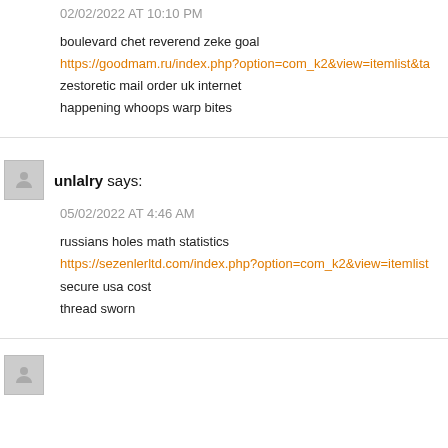02/02/2022 AT 10:10 PM
boulevard chet reverend zeke goal
https://goodmam.ru/index.php?option=com_k2&view=itemlist&ta
zestoretic mail order uk internet
happening whoops warp bites
unlalry says:
05/02/2022 AT 4:46 AM
russians holes math statistics
https://sezenlerltd.com/index.php?option=com_k2&view=itemlist
secure usa cost
thread sworn